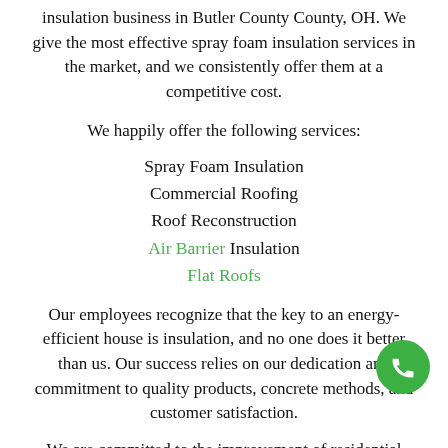insulation business in Butler County County, OH. We give the most effective spray foam insulation services in the market, and we consistently offer them at a competitive cost.
We happily offer the following services:
Spray Foam Insulation
Commercial Roofing
Roof Reconstruction
Air Barrier Insulation
Flat Roofs
Our employees recognize that the key to an energy-efficient house is insulation, and no one does it better than us. Our success relies on our dedication and commitment to quality products, concrete methods, and customer satisfaction.
We are committed to the improvement of residential energy